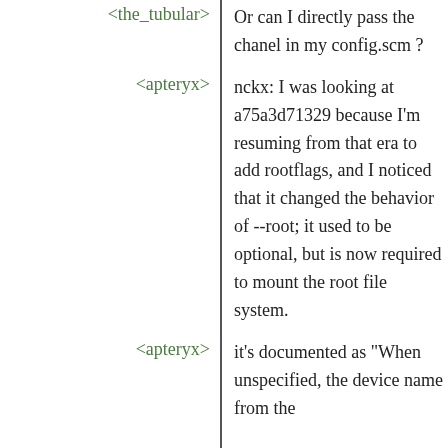<the_tubular> Or can I directly pass the chanel in my config.scm ?
<apteryx> nckx: I was looking at a75a3d71329 because I'm resuming from that era to add rootflags, and I noticed that it changed the behavior of --root; it used to be optional, but is now required to mount the root file system.
<apteryx> it's documented as "When unspecified, the device name from the